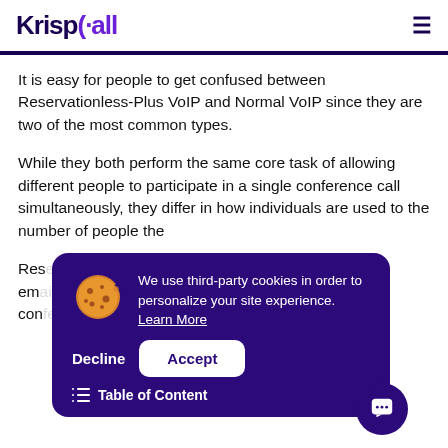KrispCall
It is easy for people to get confused between Reservationless-Plus VoIP and Normal VoIP since they are two of the most common types.
While they both perform the same core task of allowing different people to participate in a single conference call simultaneously, they differ in how individuals are used to the number of people the
Res... r em... con...
[Figure (screenshot): Cookie consent banner overlay with dark purple background. Shows a cookie icon, text reading 'We use third-party cookies in order to personalize your site experience. Learn More', and two buttons: Decline and Accept. Also shows a Table of Content link and a chat bubble icon.]
Their Reservationless-Plus conferencing allows us to assemble a